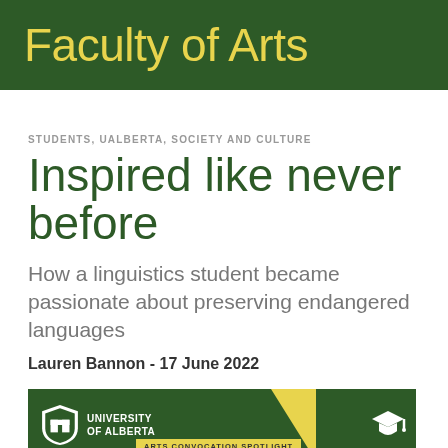Faculty of Arts
STUDENTS, UALBERTA, SOCIETY AND CULTURE
Inspired like never before
How a linguistics student became passionate about preserving endangered languages
Lauren Bannon - 17 June 2022
[Figure (other): University of Alberta branded banner graphic with dark green background, yellow triangle graphic element, graduation cap icon, and 'ARTS CONVOCATION SPOTLIGHT' yellow badge label. University of Alberta shield logo with text 'UNIVERSITY OF ALBERTA' on the left.]